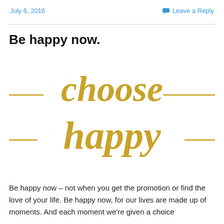July 6, 2016    Leave a Reply
Be happy now.
[Figure (illustration): Gold glitter script text reading 'choose happy' with decorative horizontal lines extending to either side of the words.]
Be happy now – not when you get the promotion or find the love of your life. Be happy now, for our lives are made up of moments. And each moment we're given a choice